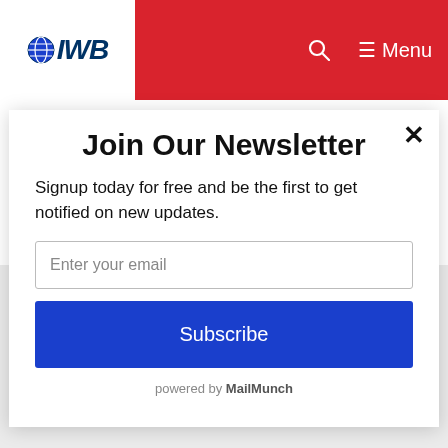IWB — Menu
Last week in Moscow, Secretary of State Rex Tillerson said U.S.-Russian relations were at a “low point” while sitting next to Russian Foreign Minister Sergey Lavrov.
Join Our Newsletter
Signup today for free and be the first to get notified on new updates.
Enter your email
Subscribe
powered by MailMunch